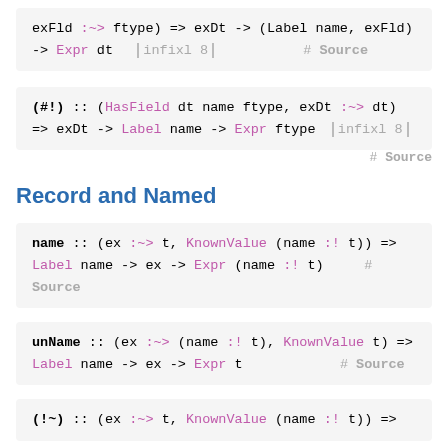exFld :~> ftype) => exDt -> (Label name, exFld)
-> Expr dt  | infixl 8 |  # Source
(#!) :: (HasField dt name ftype, exDt :~> dt)
=> exDt -> Label name -> Expr ftype  | infixl 8 |
# Source
Record and Named
name :: (ex :~> t, KnownValue (name :! t)) =>
Label name -> ex -> Expr (name :! t)  # Source
unName :: (ex :~> (name :! t), KnownValue t) =>
Label name -> ex -> Expr t  # Source
(!~) :: (ex :~> t, KnownValue (name :! t)) =>